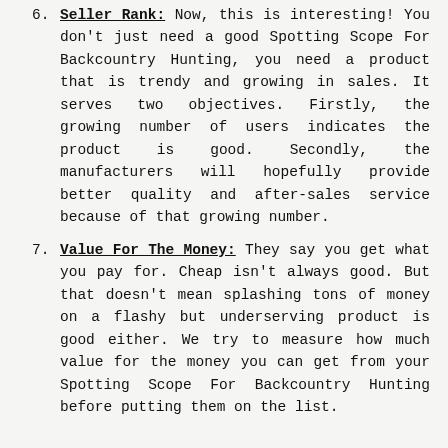6. Seller Rank: Now, this is interesting! You don't just need a good Spotting Scope For Backcountry Hunting, you need a product that is trendy and growing in sales. It serves two objectives. Firstly, the growing number of users indicates the product is good. Secondly, the manufacturers will hopefully provide better quality and after-sales service because of that growing number.
7. Value For The Money: They say you get what you pay for. Cheap isn't always good. But that doesn't mean splashing tons of money on a flashy but underserving product is good either. We try to measure how much value for the money you can get from your Spotting Scope For Backcountry Hunting before putting them on the list.